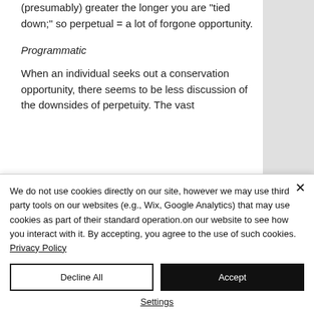(presumably) greater the longer you are "tied down;" so perpetual = a lot of forgone opportunity.
Programmatic
When an individual seeks out a conservation opportunity, there seems to be less discussion of the downsides of perpetuity. The vast
We do not use cookies directly on our site, however we may use third party tools on our websites (e.g., Wix, Google Analytics) that may use cookies as part of their standard operation.on our website to see how you interact with it. By accepting, you agree to the use of such cookies. Privacy Policy
Decline All
Accept
Settings